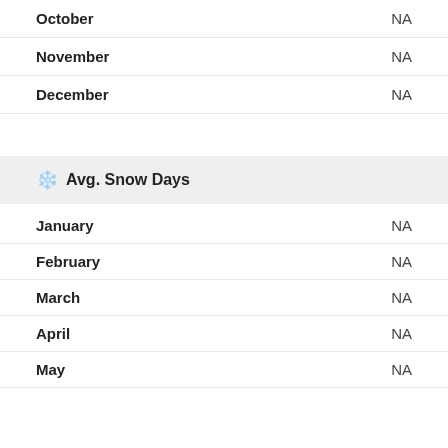| Month | Value |
| --- | --- |
| October | NA |
| November | NA |
| December | NA |
❄ Avg. Snow Days
| Month | Value |
| --- | --- |
| January | NA |
| February | NA |
| March | NA |
| April | NA |
| May | NA |
| June | NA |
| July | NA |
| August | NA |
| September | 0 |
| October | NA |
| November | NA |